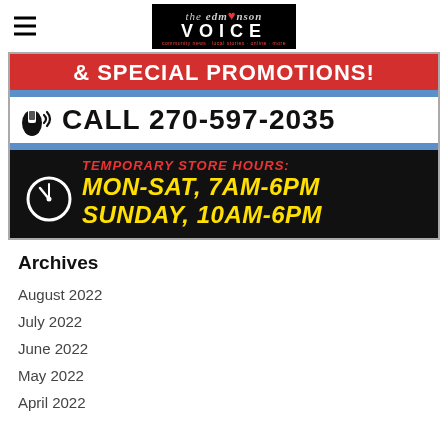the edmonson VOICE
[Figure (infographic): Advertisement banner with red background showing '& SPECIAL PROMOTIONS!', a blue separator strip, white section with phone icon and 'CALL 270-597-2035', another blue strip, and black section with clock icon showing 'TEMPORARY STORE HOURS: MON-SAT, 7AM-6PM SUNDAY, 10AM-6PM']
Archives
August 2022
July 2022
June 2022
May 2022
April 2022